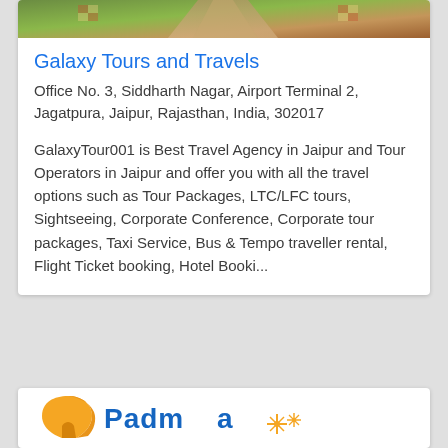[Figure (photo): Aerial or garden pathway photo at the top of a business listing card]
Galaxy Tours and Travels
Office No. 3, Siddharth Nagar, Airport Terminal 2, Jagatpura, Jaipur, Rajasthan, India, 302017
GalaxyTour001 is Best Travel Agency in Jaipur and Tour Operators in Jaipur and offer you with all the travel options such as Tour Packages, LTC/LFC tours, Sightseeing, Corporate Conference, Corporate tour packages, Taxi Service, Bus & Tempo traveller rental, Flight Ticket booking, Hotel Booki...
[Figure (logo): Padma company logo with golden/orange arc shape and blue Padma text with decorative elements]